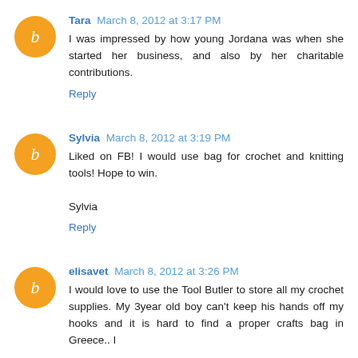Tara March 8, 2012 at 3:17 PM
I was impressed by how young Jordana was when she started her business, and also by her charitable contributions.
Reply
Sylvia March 8, 2012 at 3:19 PM
Liked on FB! I would use bag for crochet and knitting tools! Hope to win.

Sylvia
Reply
elisavet March 8, 2012 at 3:26 PM
I would love to use the Tool Butler to store all my crochet supplies. My 3year old boy can't keep his hands off my hooks and it is hard to find a proper crafts bag in Greece.. I